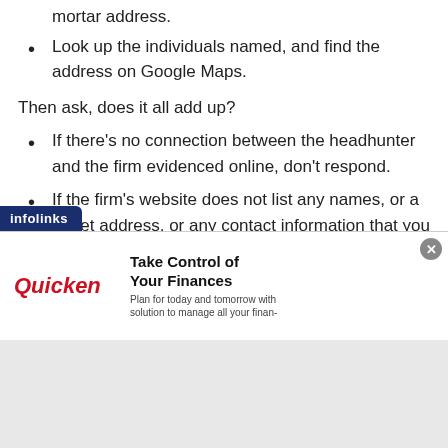mortar address.
Look up the individuals named, and find the address on Google Maps.
Then ask, does it all add up?
If there's no connection between the headhunter and the firm evidenced online, don't respond.
If the firm's website does not list any names, or a street address, or any contact information that you can verify through an independent source, run. (If you do find an address on Google, there should be multiple references to it, or it's probably phony.)
[Figure (screenshot): Infolinks ad banner with Quicken advertisement: 'Take Control of Your Finances - Plan for today and tomorrow with solution to manage all your finan-']